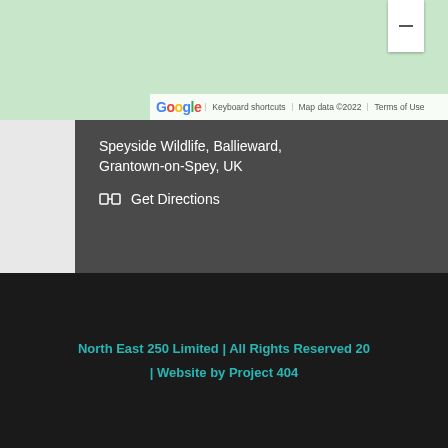[Figure (screenshot): Google Maps embed showing Speyside Wildlife location with minus zoom button and map attribution bar]
Speyside Wildlife, Ballieward, Grantown-on-Spey, UK
Get Directions
Social Profiles
[Figure (illustration): Social media icons: Instagram, Twitter, Pinterest, Facebook, YouTube — all in light grey]
North East 250 Limited | All Rights Reserved 20… | Website by Project 404